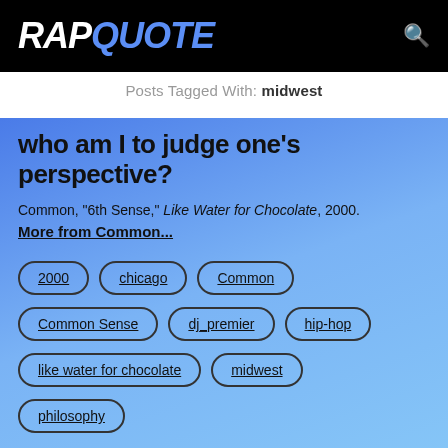RAPQUOTE
Posts Tagged With: midwest
who am I to judge one's perspective?
Common, "6th Sense," Like Water for Chocolate, 2000.
More from Common...
2000
chicago
Common
Common Sense
dj_premier
hip-hop
like water for chocolate
midwest
philosophy